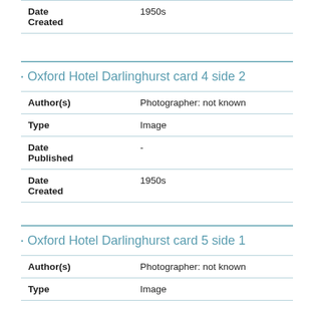| Field | Value |
| --- | --- |
| Date Created | 1950s |
Oxford Hotel Darlinghurst card 4 side 2
| Field | Value |
| --- | --- |
| Author(s) | Photographer: not known |
| Type | Image |
| Date Published | - |
| Date Created | 1950s |
Oxford Hotel Darlinghurst card 5 side 1
| Field | Value |
| --- | --- |
| Author(s) | Photographer: not known |
| Type | Image |